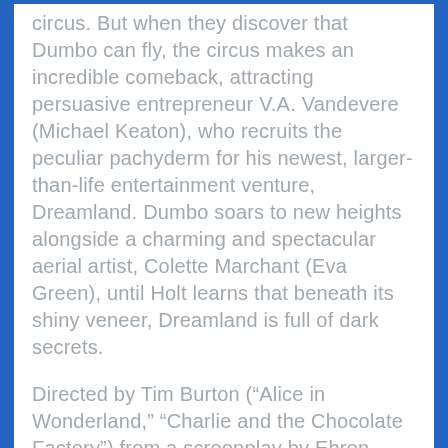circus. But when they discover that Dumbo can fly, the circus makes an incredible comeback, attracting persuasive entrepreneur V.A. Vandevere (Michael Keaton), who recruits the peculiar pachyderm for his newest, larger-than-life entertainment venture, Dreamland. Dumbo soars to new heights alongside a charming and spectacular aerial artist, Colette Marchant (Eva Green), until Holt learns that beneath its shiny veneer, Dreamland is full of dark secrets.
Directed by Tim Burton (“Alice in Wonderland,” “Charlie and the Chocolate Factory”) from a screenplay by Ehren Kruger (“Ophelia,” “Dream House”), and produced by Justin Springer (“TRON: